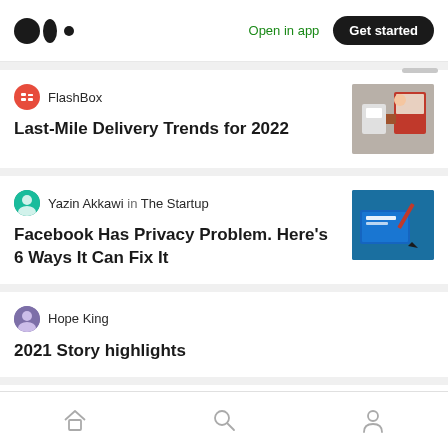[Figure (logo): Medium logo — three dots forming circles]
Open in app
Get started
FlashBox
Last-Mile Delivery Trends for 2022
Yazin Akkawi in The Startup
Facebook Has Privacy Problem. Here's 6 Ways It Can Fix It
Hope King
2021 Story highlights
All Tech Asia